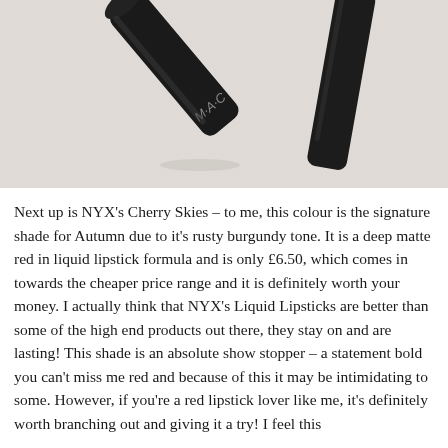[Figure (photo): Close-up photograph of MAC lipstick products lying on a light fabric surface. Two dark/black cylindrical lipstick tubes are visible, one showing the MAC logo text on its side.]
Next up is NYX's Cherry Skies – to me, this colour is the signature shade for Autumn due to it's rusty burgundy tone. It is a deep matte red in liquid lipstick formula and is only £6.50, which comes in towards the cheaper price range and it is definitely worth your money. I actually think that NYX's Liquid Lipsticks are better than some of the high end products out there, they stay on and are lasting! This shade is an absolute show stopper – a statement bold you can't miss me red and because of this it may be intimidating to some. However, if you're a red lipstick lover like me, it's definitely worth branching out and giving it a try! I feel this